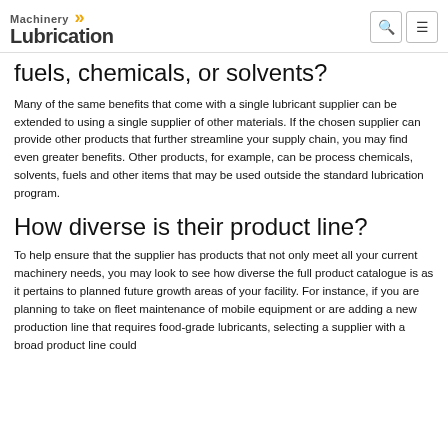Machinery Lubrication
fuels, chemicals, or solvents?
Many of the same benefits that come with a single lubricant supplier can be extended to using a single supplier of other materials. If the chosen supplier can provide other products that further streamline your supply chain, you may find even greater benefits. Other products, for example, can be process chemicals, solvents, fuels and other items that may be used outside the standard lubrication program.
How diverse is their product line?
To help ensure that the supplier has products that not only meet all your current machinery needs, you may look to see how diverse the full product catalogue is as it pertains to planned future growth areas of your facility. For instance, if you are planning to take on fleet maintenance of mobile equipment or are adding a new production line that requires food-grade lubricants, selecting a supplier with a broad product line could